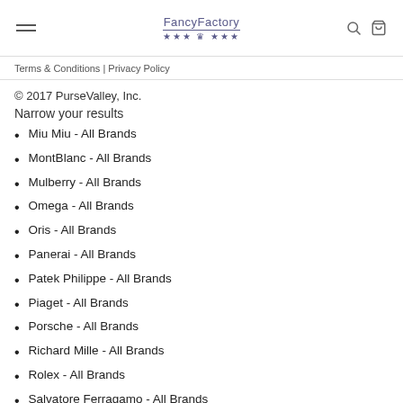FancyFactory
Terms & Conditions | Privacy Policy
© 2017 PurseValley, Inc.
Narrow your results
Miu Miu - All Brands
MontBlanc - All Brands
Mulberry - All Brands
Omega - All Brands
Oris - All Brands
Panerai - All Brands
Patek Philippe - All Brands
Piaget - All Brands
Porsche - All Brands
Richard Mille - All Brands
Rolex - All Brands
Salvatore Ferragamo - All Brands
Stella McCartney - All Brands